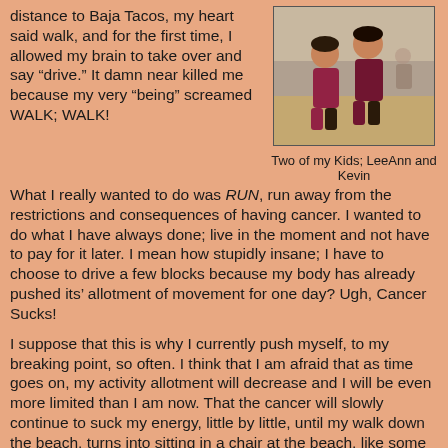distance to Baja Tacos, my heart said walk, and for the first time, I allowed my brain to take over and say "drive." It damn near killed me because my very "being" screamed WALK; WALK!
[Figure (photo): Photo of two children at a beach, smiling]
Two of my Kids; LeeAnn and Kevin
What I really wanted to do was RUN, run away from the restrictions and consequences of having cancer. I wanted to do what I have always done; live in the moment and not have to pay for it later. I mean how stupidly insane; I have to choose to drive a few blocks because my body has already pushed its' allotment of movement for one day? Ugh, Cancer Sucks!
I suppose that this is why I currently push myself, to my breaking point, so often. I think that I am afraid that as time goes on, my activity allotment will decrease and I will be even more limited than I am now. That the cancer will slowly continue to suck my energy, little by little, until my walk down the beach, turns into sitting in a chair at the beach, like some decrepit old woman, watching the children play as opposed to playing with them. Sitting around watching is a